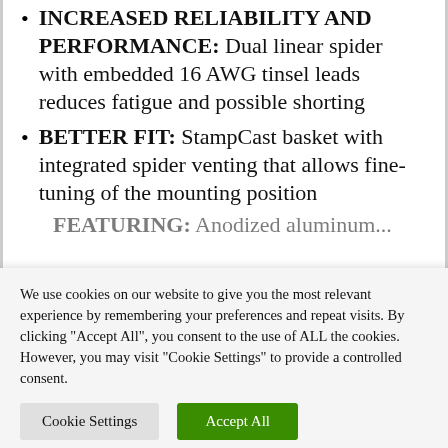INCREASED RELIABILITY AND PERFORMANCE: Dual linear spider with embedded 16 AWG tinsel leads reduces fatigue and possible shorting
BETTER FIT: StampCast basket with integrated spider venting that allows fine-tuning of the mounting position
FEATURING: Anodized aluminum...
We use cookies on our website to give you the most relevant experience by remembering your preferences and repeat visits. By clicking "Accept All", you consent to the use of ALL the cookies. However, you may visit "Cookie Settings" to provide a controlled consent.